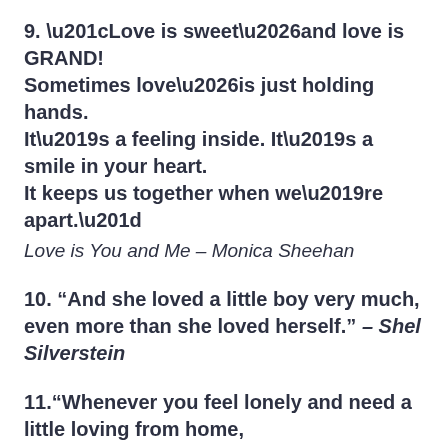9. “Love is sweet…and love is GRAND! Sometimes love…is just holding hands. It’s a feeling inside. It’s a smile in your heart. It keeps us together when we’re apart.” Love is You and Me – Monica Sheehan
10. “And she loved a little boy very much, even more than she loved herself.” – Shel Silverstein
11.“Whenever you feel lonely and need a little loving from home, just press your hand to your cheek and